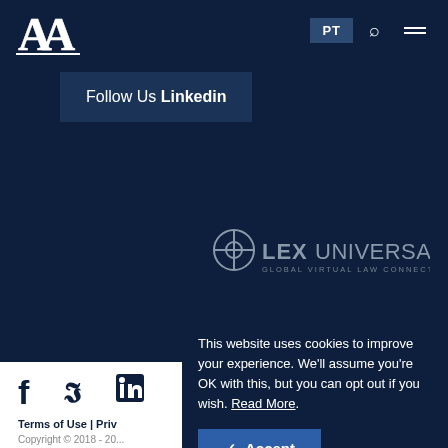[Figure (logo): Law firm logo with stylized 'AA' letters in white on dark navy background]
PT
Follow Us Linkedin
[Figure (logo): LexUniversal Global Virtual Law Connection logo in grey on dark navy background]
This website uses cookies to improve your experience. We'll assume you're OK with this, but you can opt out if you wish. Read More.
✓ Accept
Terms of Use | Priv
Copyright © 2018 - 20... rights reserved. Crea...